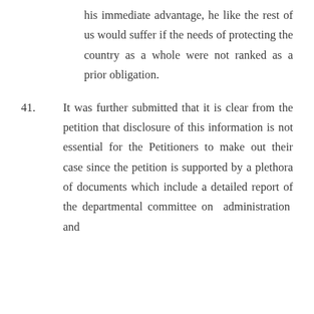his immediate advantage, he like the rest of us would suffer if the needs of protecting the country as a whole were not ranked as a prior obligation.
41. It was further submitted that it is clear from the petition that disclosure of this information is not essential for the Petitioners to make out their case since the petition is supported by a plethora of documents which include a detailed report of the departmental committee on administration and